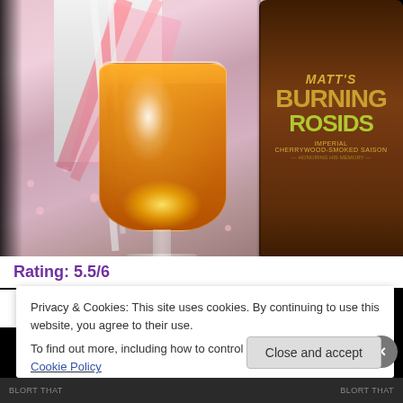[Figure (photo): Photo of a tulip beer glass filled with orange/amber beer next to a dark bottle labeled 'Matt's Burning Rosids - Imperial Cherrywood-Smoked Saison - Honoring His Memory' against an anime-style illustrated background with cherry blossoms]
Rating: 5.5/6
Privacy & Cookies: This site uses cookies. By continuing to use this website, you agree to their use.
To find out more, including how to control cookies, see here: Cookie Policy
Close and accept